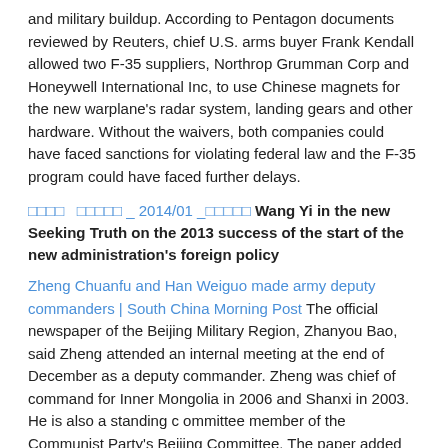and military buildup. According to Pentagon documents reviewed by Reuters, chief U.S. arms buyer Frank Kendall allowed two F-35 suppliers, Northrop Grumman Corp and Honeywell International Inc, to use Chinese magnets for the new warplane's radar system, landing gears and other hardware. Without the waivers, both companies could have faced sanctions for violating federal law and the F-35 program could have faced further delays.
□□□□  □□□□□ _ 2014/01 _□□□□□ Wang Yi in the new Seeking Truth on the 2013 success of the start of the new administration's foreign policy
Zheng Chuanfu and Han Weiguo made army deputy commanders | South China Morning Post The official newspaper of the Beijing Military Region, Zhanyou Bao, said Zheng attended an internal meeting at the end of December as a deputy commander. Zheng was chief of command for Inner Mongolia in 2006 and Shanxi in 2003. He is also a standing c ommittee member of the Communist Party's Beijing Committee. The paper added that Major General Han Weiguo, 57, also attended the meeting as a deputy commander. Han previously served as commander of the 12th Group Army based in Nanjing , Jiangsu province